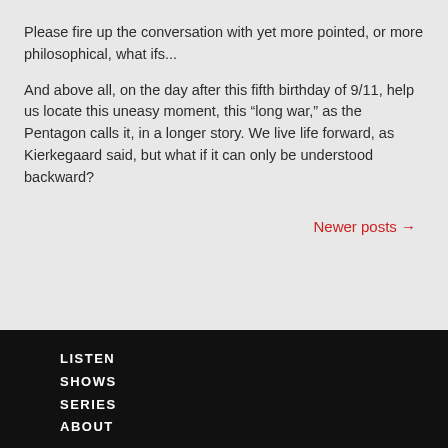Please fire up the conversation with yet more pointed, or more philosophical, what ifs...
And above all, on the day after this fifth birthday of 9/11, help us locate this uneasy moment, this “long war,” as the Pentagon calls it, in a longer story. We live life forward, as Kierkegaard said, but what if it can only be understood backward?
Newer posts →
LISTEN
SHOWS
SERIES
ABOUT